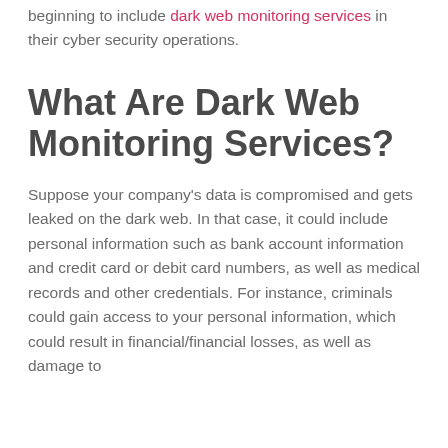beginning to include dark web monitoring services in their cyber security operations.
What Are Dark Web Monitoring Services?
Suppose your company's data is compromised and gets leaked on the dark web. In that case, it could include personal information such as bank account information and credit card or debit card numbers, as well as medical records and other credentials. For instance, criminals could gain access to your personal information, which could result in financial/financial losses, as well as damage to